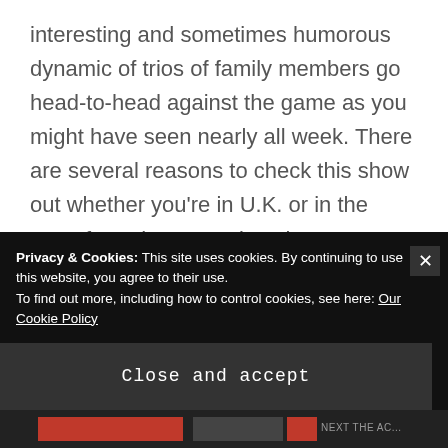interesting and sometimes humorous dynamic of trios of family members go head-to-head against the game as you might have seen nearly all week. There are several reasons to check this show out whether you're in U.K. or in the U.S., from the gameplay elements to the show's host Shane Richtie. The show's gameplay flows well at a steady pace through the main game and appropriately intensifies toward the end of the show in the two-minute end game. Much like The Chase, Decimate has a healthy range of question difficulty levels
Privacy & Cookies: This site uses cookies. By continuing to use this website, you agree to their use.
To find out more, including how to control cookies, see here: Our Cookie Policy
Close and accept